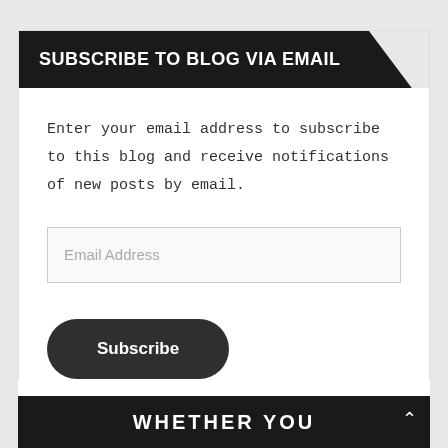SUBSCRIBE TO BLOG VIA EMAIL
Enter your email address to subscribe to this blog and receive notifications of new posts by email.
Email Address
Subscribe
WHETHER YOU